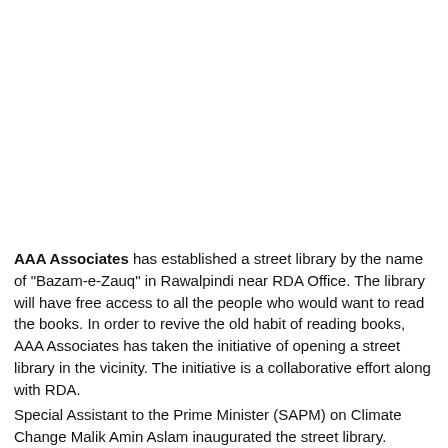AAA Associates has established a street library by the name of "Bazam-e-Zauq" in Rawalpindi near RDA Office. The library will have free access to all the people who would want to read the books. In order to revive the old habit of reading books, AAA Associates has taken the initiative of opening a street library in the vicinity. The initiative is a collaborative effort along with RDA.
Special Assistant to the Prime Minister (SAPM) on Climate Change Malik Amin Aslam inaugurated the street library. Chairman AAA